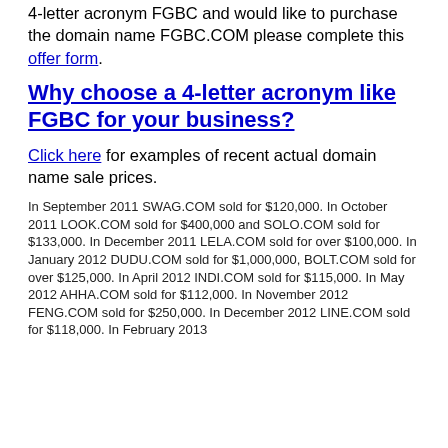4-letter acronym FGBC and would like to purchase the domain name FGBC.COM please complete this offer form.
Why choose a 4-letter acronym like FGBC for your business?
Click here for examples of recent actual domain name sale prices.
In September 2011 SWAG.COM sold for $120,000.    In October 2011 LOOK.COM sold for $400,000 and SOLO.COM sold for $133,000.    In December 2011 LELA.COM sold for over $100,000.    In January 2012 DUDU.COM sold for $1,000,000, BOLT.COM sold for over $125,000.    In April 2012 INDI.COM sold for $115,000.    In May 2012 AHHA.COM sold for $112,000.    In November 2012 FENG.COM sold for $250,000.    In December 2012 LINE.COM sold for $118,000.    In February 2013